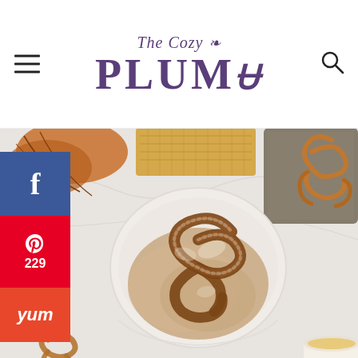The Cozy Plum
[Figure (photo): Overhead photo of a cinnamon sugar coated soft pretzel in a white bowl filled with cinnamon sugar mixture, surrounded by autumn decorations, a baking tray with pretzels, and a small bowl, on a marble surface.]